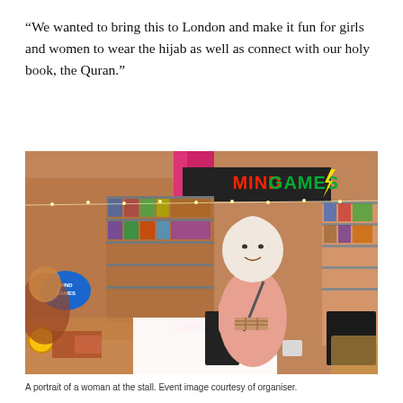“We wanted to bring this to London and make it fun for girls and women to wear the hijab as well as connect with our holy book, the Quran.”
[Figure (photo): A woman wearing a pink hijab and pink top stands smiling in front of a market stall inside a shopping centre. Behind her is a shop called 'Mind Games' with colourful merchandise. The stall in the foreground has various items including cups, books, and colourful goods.]
A portrait of a woman at the stall. Event image courtesy of organiser.